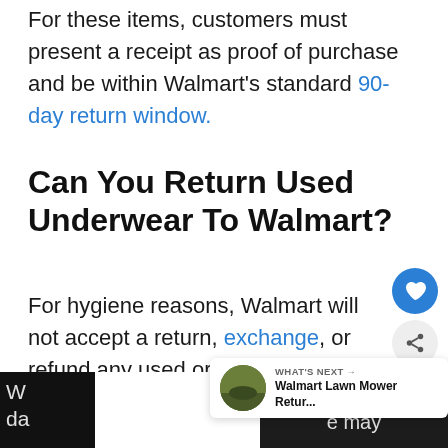For these items, customers must present a receipt as proof of purchase and be within Walmart's standard 90-day return window.
Can You Return Used Underwear To Walmart?
For hygiene reasons, Walmart will not accept a return, exchange, or refund any used or opened underwea...